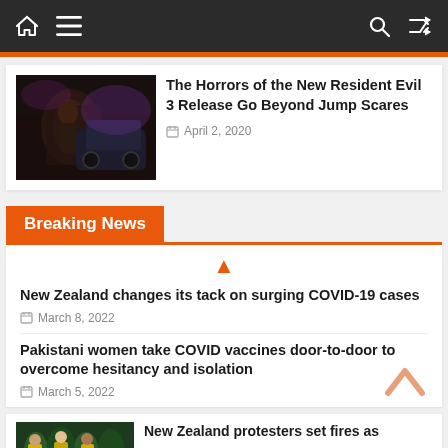Navigation bar with home, menu, search, and shuffle icons
[Figure (photo): Dark gaming scene - Resident Evil 3 character]
The Horrors of the New Resident Evil 3 Release Go Beyond Jump Scares
April 2, 2020
Breaking News
New Zealand changes its tack on surging COVID-19 cases
March 8, 2022
Pakistani women take COVID vaccines door-to-door to overcome hesitancy and isolation
March 5, 2022
[Figure (photo): New Zealand protesters image]
New Zealand protesters set fires as